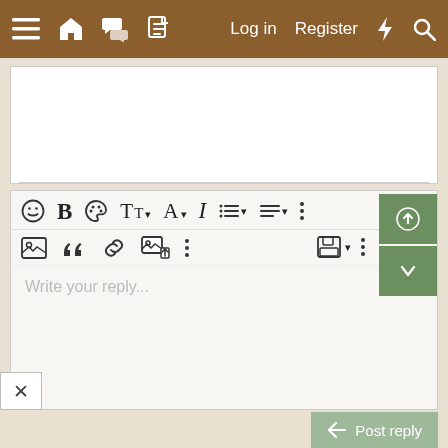[Figure (screenshot): Navigation bar with hamburger menu, home, chat, document icons on left; Log in, Register, lightning, search icons on right. Brown background.]
[Figure (screenshot): Forum reply editor interface with two toolbars containing formatting icons (emoji, bold, palette, font size, color, italic, list, align, more), image, quote, link, image upload, save, more options buttons. Green up/down scroll buttons on right. Text area with 'Write your reply...' placeholder. X close button bottom left. Post reply button bottom right.]